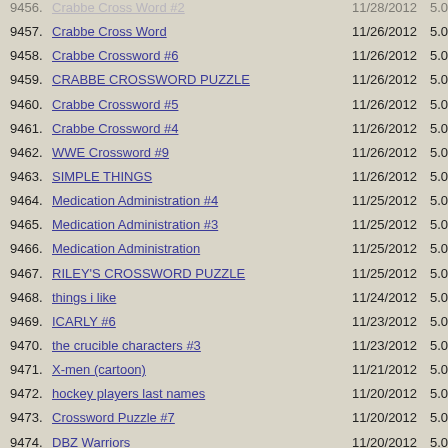9457. Crabbe Cross Word — 11/26/2012 — 5.0
9458. Crabbe Crossword #6 — 11/26/2012 — 5.0
9459. CRABBE CROSSWORD PUZZLE — 11/26/2012 — 5.0
9460. Crabbe Crossword #5 — 11/26/2012 — 5.0
9461. Crabbe Crossword #4 — 11/26/2012 — 5.0
9462. WWE Crossword #9 — 11/26/2012 — 5.0
9463. SIMPLE THINGS — 11/26/2012 — 5.0
9464. Medication Administration #4 — 11/25/2012 — 5.0
9465. Medication Administration #3 — 11/25/2012 — 5.0
9466. Medication Administration — 11/25/2012 — 5.0
9467. RILEY'S CROSSWORD PUZZLE — 11/25/2012 — 5.0
9468. things i like — 11/24/2012 — 5.0
9469. ICARLY #6 — 11/23/2012 — 5.0
9470. the crucible characters #3 — 11/23/2012 — 5.0
9471. X-men (cartoon) — 11/21/2012 — 5.0
9472. hockey players last names — 11/20/2012 — 5.0
9473. Crossword Puzzle #7 — 11/20/2012 — 5.0
9474. DBZ Warriors — 11/20/2012 — 5.0
9475. Advneture Time — 11/20/2012 — 5.0
9476. diary of a wimpy kid cabin fever — 11/20/2012 — 5.0
9477. Touching Spirt Bear — 11/19/2012 — 5.0